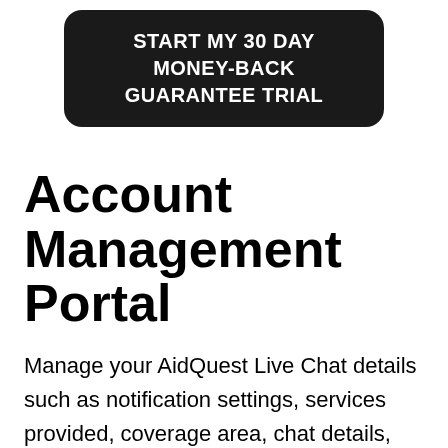[Figure (other): Black rounded rectangle button with white uppercase text reading 'START MY 30 DAY MONEY-BACK GUARANTEE TRIAL']
Account Management Portal
Manage your AidQuest Live Chat details such as notification settings, services provided, coverage area, chat details, and more by logging in to your secure account.
[Figure (photo): Partial photo of a person, cropped at bottom of page]